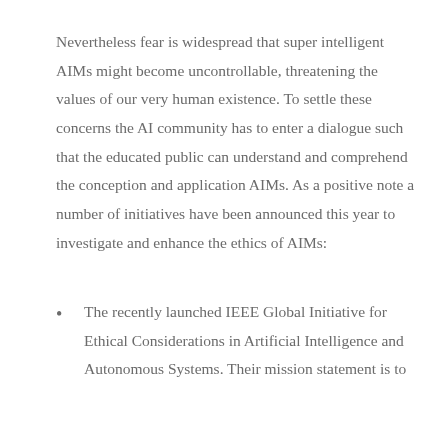Nevertheless fear is widespread that super intelligent AIMs might become uncontrollable, threatening the values of our very human existence. To settle these concerns the AI community has to enter a dialogue such that the educated public can understand and comprehend the conception and application AIMs. As a positive note a number of initiatives have been announced this year to investigate and enhance the ethics of AIMs:
The recently launched IEEE Global Initiative for Ethical Considerations in Artificial Intelligence and Autonomous Systems. Their mission statement is to